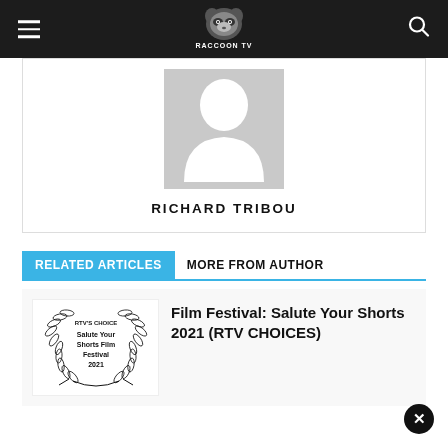Raccoon TV navigation bar with hamburger menu, logo, and search icon
[Figure (illustration): Grey placeholder avatar silhouette of a person]
RICHARD TRIBOU
RELATED ARTICLES
MORE FROM AUTHOR
[Figure (illustration): Laurel wreath badge reading RTV'S CHOICE Salute Your Shorts Film Festival 2021]
Film Festival: Salute Your Shorts 2021 (RTV CHOICES)